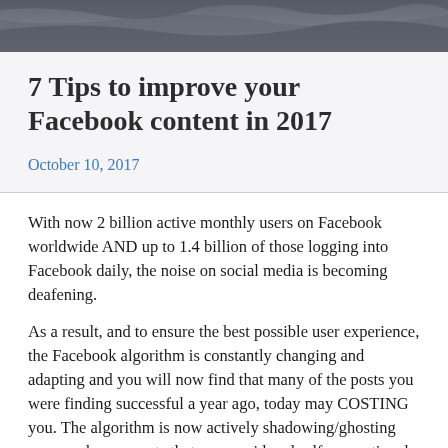[Figure (photo): Dark textured stone or marble background image used as a decorative header banner]
7 Tips to improve your Facebook content in 2017
October 10, 2017
With now 2 billion active monthly users on Facebook worldwide AND up to 1.4 billion of those logging into Facebook daily, the noise on social media is becoming deafening.
As a result, and to ensure the best possible user experience, the Facebook algorithm is constantly changing and adapting and you will now find that many of the posts you were finding successful a year ago, today may COSTING you. The algorithm is now actively shadowing/ghosting more and more posts that are considered self-promotional or spam. So, the